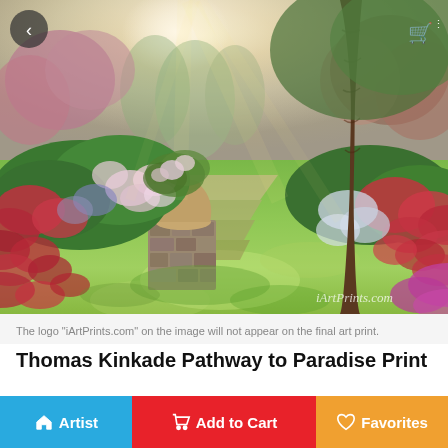[Figure (illustration): Thomas Kinkade painting of a garden pathway with lush green lawn, colorful flowering bushes (red, pink, white, purple), a stone pedestal with an urn planter covered in vines and flowers on the left, a large tree trunk on the right with sunlight rays filtering through, and a misty path receding into the background. Watermark 'iArtPrints.com' in bottom right.]
The logo "iArtPrints.com" on the image will not appear on the final art print.
Thomas Kinkade Pathway to Paradise Print
US $65.57